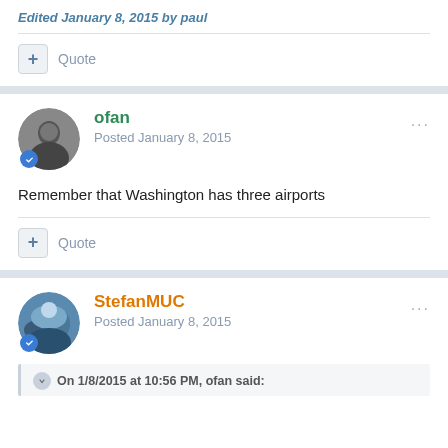Edited January 8, 2015 by paul
Quote
ofan
Posted January 8, 2015
Remember that Washington has three airports
Quote
StefanMUC
Posted January 8, 2015
On 1/8/2015 at 10:56 PM, ofan said: